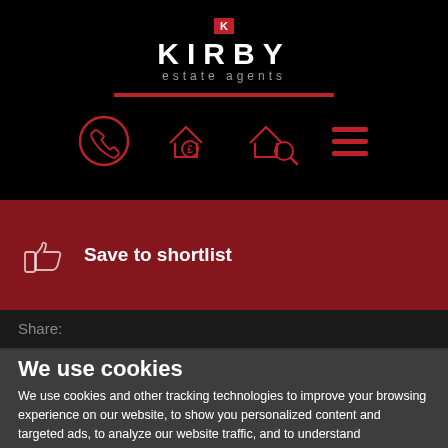[Figure (logo): Kirby Estate Agents logo — red K badge above KIRBY in white large bold letters, 'estate agents' in grey smaller text, with a red horizontal bar below]
[Figure (infographic): Navigation icons row: phone in circle, house with pound sign, house with magnifier, hamburger menu — all in red/white outline style on black background]
[Figure (infographic): Red banner background photo of brick pavement with dark overlay, containing thumbs-up icon and 'Save to shortlist' white text]
Share:
We use cookies
We use cookies and other tracking technologies to improve your browsing experience on our website, to show you personalized content and targeted ads, to analyze our website traffic, and to understand